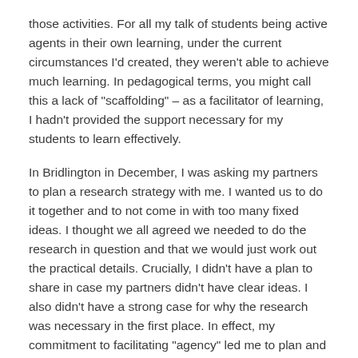those activities. For all my talk of students being active agents in their own learning, under the current circumstances I'd created, they weren't able to achieve much learning. In pedagogical terms, you might call this a lack of "scaffolding" – as a facilitator of learning, I hadn't provided the support necessary for my students to learn effectively.
In Bridlington in December, I was asking my partners to plan a research strategy with me. I wanted us to do it together and to not come in with too many fixed ideas. I thought we all agreed we needed to do the research in question and that we would just work out the practical details. Crucially, I didn't have a plan to share in case my partners didn't have clear ideas. I also didn't have a strong case for why the research was necessary in the first place. In effect, my commitment to facilitating "agency" led me to plan and prepare less. Like the lesson I had prepared for my students, I was relying on them to contribute the content and I didn't have a contingency plan prepared in case they didn't have content to contribute. Through both my teaching and my research, I have learned that critical pedagogy,